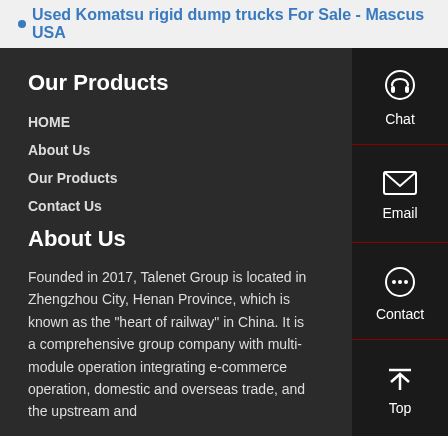Used Komatsu rigid dump trucks For Sale - Mascus USA
Our Products
HOME
About Us
Our Products
Contact Us
About Us
Founded in 2017, Talenet Group is located in Zhengzhou City, Henan Province, which is known as the "heart of railway" in China. It is a comprehensive group company with multi-module operation integrating e-commerce operation, domestic and overseas trade, and the upstream and